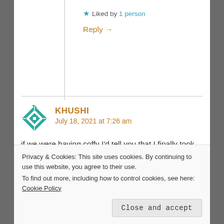★ Liked by 1 person
Reply →
KHUSHI
July 18, 2021 at 7:26 am
if we were having coffy I'd tell you that I finally took the plunge and pressed publish on my first blog post on 12th of this month.
I ramble a lot but you can find my blog via the
Privacy & Cookies: This site uses cookies. By continuing to use this website, you agree to their use.
To find out more, including how to control cookies, see here: Cookie Policy
Close and accept